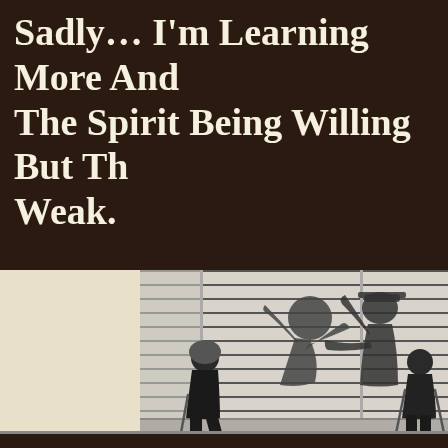Sadly… I'm Learning More And More About The Spirit Being Willing But The Flesh Being Weak.
[Figure (photo): Black and white photograph of two elderly people walking with canes along a wall with horizontal siding. Their energetic shadows are cast on the wall behind them, showing lively dancing figures in silhouette — contrasting their slow aged bodies with youthful shadows.]